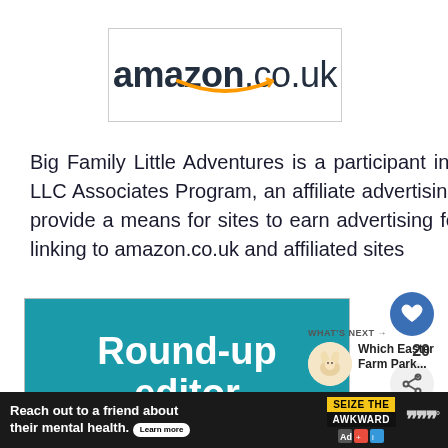[Figure (logo): Amazon.co.uk logo with orange smile/arrow underneath the text, inside a light gray bordered box]
Big Family Little Adventures is a participant in the Amazon Services LLC Associates Program, an affiliate advertising program designed to provide a means for sites to earn advertising fees by advertising and linking to amazon.co.uk and affiliated sites
[Figure (infographic): Round-up editor graphic: teal/cyan circular graphic with white bold text saying 'Round-up editor']
[Figure (infographic): WHAT'S NEXT arrow label with small circular photo of Easter animals and text 'Which Easter Farm Park...']
[Figure (infographic): Advertisement banner at bottom: dark background, white text 'Reach out to a friend about their mental health. Learn more', with SEIZE THE AWKWARD badge and logos]